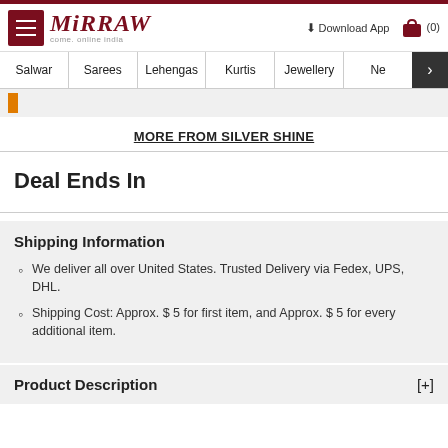Mirraw - Download App (0)
Salwar | Sarees | Lehengas | Kurtis | Jewellery | Ne >
MORE FROM SILVER SHINE
Deal Ends In
Shipping Information
We deliver all over United States. Trusted Delivery via Fedex, UPS, DHL.
Shipping Cost: Approx. $ 5 for first item, and Approx. $ 5 for every additional item.
Product Description [+]